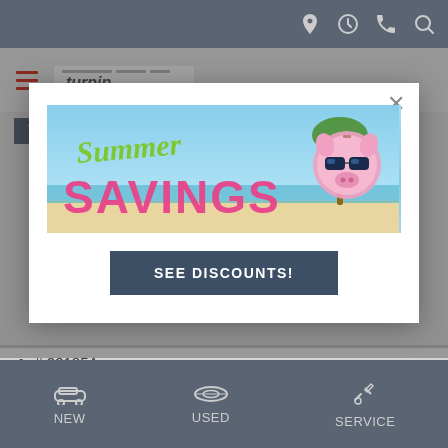Navigation icons: location, clock, phone, search
[Figure (screenshot): Turpin dealership logo with hamburger menu]
FILTERS | 4 applied [Clear]
[Figure (infographic): Summer Savings promotional banner with pink piggy bank wearing sunglasses on a beach background]
SEE DISCOUNTS!
# 22185A
39,914 mi.
NEW   USED   SERVICE